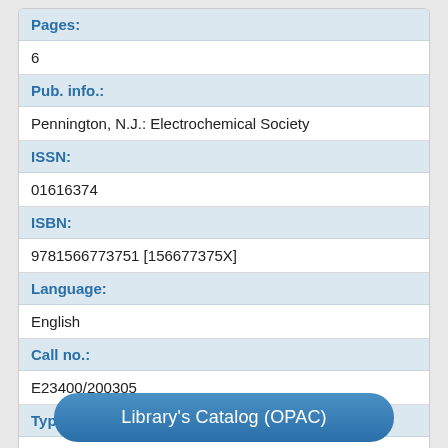| Pages: | 6 |
| Pub. info.: | Pennington, N.J.: Electrochemical Society |
| ISSN: | 01616374 |
| ISBN: | 9781566773751 [156677375X] |
| Language: | English |
| Call no.: | E23400/200305 |
| Type: | Conference Proceedings |
Library's Catalog (OPAC)